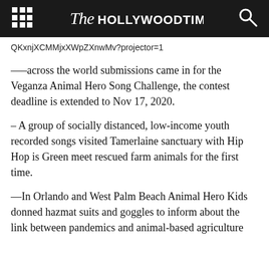The Hollywood Times
QKxnjXCMMjxXWpZXnwMv?projector=1
—–across the world submissions came in for the Veganza Animal Hero Song Challenge, the contest deadline is extended to Nov 17, 2020.
– A group of socially distanced, low-income youth recorded songs visited Tamerlaine sanctuary with Hip Hop is Green meet rescued farm animals for the first time.
—In Orlando and West Palm Beach Animal Hero Kids donned hazmat suits and goggles to inform about the link between pandemics and animal-based agriculture